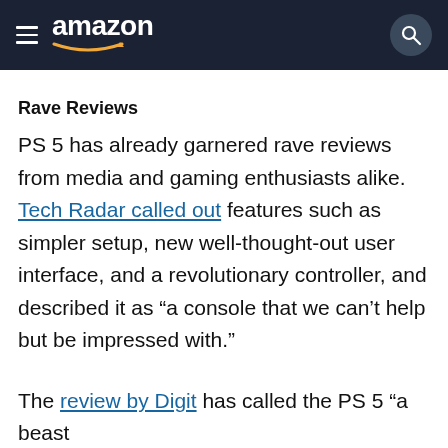amazon
Rave Reviews
PS 5 has already garnered rave reviews from media and gaming enthusiasts alike. Tech Radar called out features such as simpler setup, new well-thought-out user interface, and a revolutionary controller, and described it as “a console that we can’t help but be impressed with.”
The review by Digit has called the PS 5 “a beast